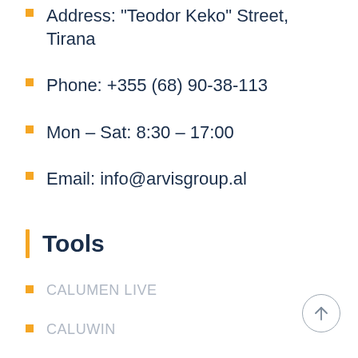Address: "Teodor Keko" Street, Tirana
Phone: +355 (68) 90-38-113
Mon – Sat: 8:30 – 17:00
Email: info@arvisgroup.al
Tools
CALUMEN LIVE
CALUWIN